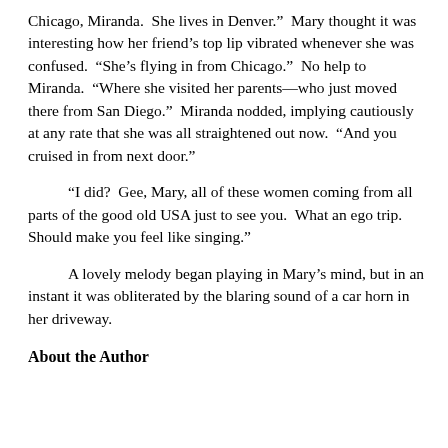Chicago, Miranda.  She lives in Denver.”  Mary thought it was interesting how her friend’s top lip vibrated whenever she was confused.  “She’s flying in from Chicago.”  No help to Miranda.  “Where she visited her parents—who just moved there from San Diego.”  Miranda nodded, implying cautiously at any rate that she was all straightened out now.  “And you cruised in from next door.”
“I did?  Gee, Mary, all of these women coming from all parts of the good old USA just to see you.  What an ego trip.  Should make you feel like singing.”
A lovely melody began playing in Mary’s mind, but in an instant it was obliterated by the blaring sound of a car horn in her driveway.
About the Author